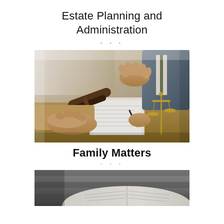Estate Planning and Administration
[Figure (photo): Legal consultation scene with a judge's gavel, scales of justice, documents being signed, two people at a desk — one with hands clasped, one writing with a pen.]
Family Matters
[Figure (photo): Black and white photo of an open book or document, partially visible, on a desk.]